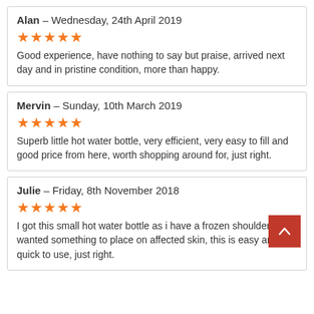Alan - Wednesday, 24th April 2019
★★★★★
Good experience, have nothing to say but praise, arrived next day and in pristine condition, more than happy.
Mervin - Sunday, 10th March 2019
★★★★★
Superb little hot water bottle, very efficient, very easy to fill and good price from here, worth shopping around for, just right.
Julie - Friday, 8th November 2018
★★★★★
I got this small hot water bottle as i have a frozen shoulder and wanted something to place on affected skin, this is easy and quick to use, just right.